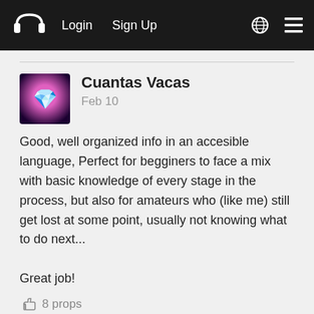Login   Sign Up
Cuantas Vacas
Feb 10

Good, well organized info in an accesible language, Perfect for begginers to face a mix with basic knowledge of every stage in the process, but also for amateurs who (like me) still get lost at some point, usually not knowing what to do next...

Great job!
8 props
Amaan Shah
Feb 14